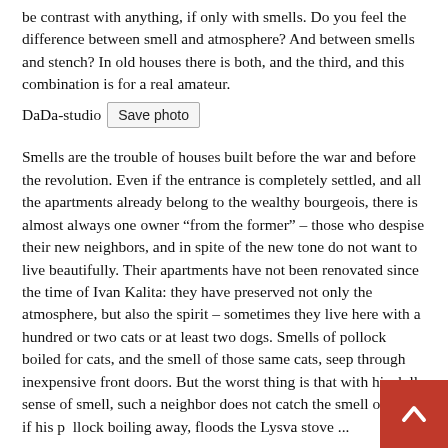be contrast with anything, if only with smells. Do you feel the difference between smell and atmosphere? And between smells and stench? In old houses there is both, and the third, and this combination is for a real amateur.
DaDa-studio  Save photo
Smells are the trouble of houses built before the war and before the revolution. Even if the entrance is completely settled, and all the apartments already belong to the wealthy bourgeois, there is almost always one owner “from the former” – those who despise their new neighbors, and in spite of the new tone do not want to live beautifully. Their apartments have not been renovated since the time of Ivan Kalita: they have preserved not only the atmosphere, but also the spirit – sometimes they live here with a hundred or two cats or at least two dogs. Smells of pollock boiled for cats, and the smell of those same cats, seep through inexpensive front doors. But the worst thing is that with his dull sense of smell, such a neighbor does not catch the smell of gas, if his pollock boiling away, floods the Lysva stove ...